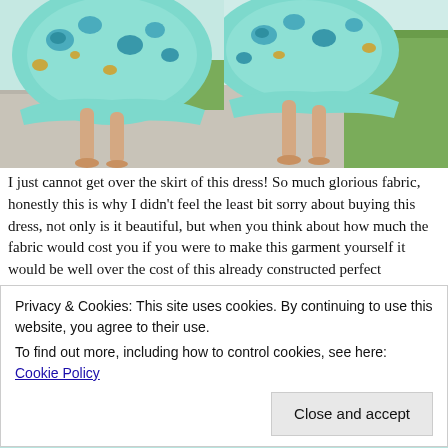[Figure (photo): Two side-by-side photos of a person wearing a flowing mint/aqua floral dress with blue flowers, barefoot on a concrete path with grass visible. Left photo shows the skirt flaring out; right photo shows the dress from a slightly different angle.]
I just cannot get over the skirt of this dress! So much glorious fabric, honestly this is why I didn't feel the least bit sorry about buying this dress, not only is it beautiful, but when you think about how much the fabric would cost you if you were to make this garment yourself it would be well over the cost of this already constructed perfect
Privacy & Cookies: This site uses cookies. By continuing to use this website, you agree to their use.
To find out more, including how to control cookies, see here: Cookie Policy
[Figure (photo): Bottom sliver of a photo showing a person with long hair wearing the same floral aqua dress, viewed from above/close.]